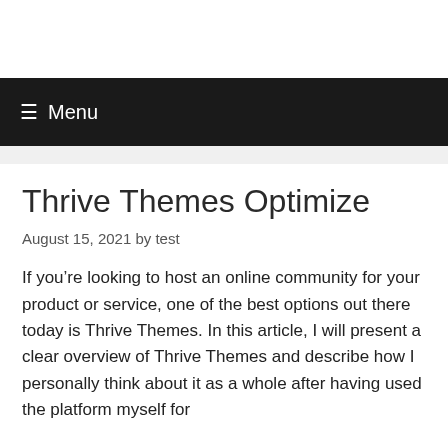Menu
Thrive Themes Optimize
August 15, 2021 by test
If you’re looking to host an online community for your product or service, one of the best options out there today is Thrive Themes. In this article, I will present a clear overview of Thrive Themes and describe how I personally think about it as a whole after having used the platform myself for